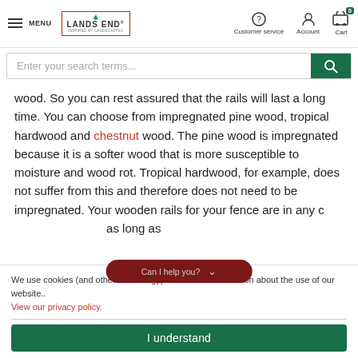MENU | LANDS END | Customer service | Account | Cart (0)
Enter your search terms...
wood. So you can rest assured that the rails will last a long time. You can choose from impregnated pine wood, tropical hardwood and chestnut wood. The pine wood is impregnated because it is a softer wood that is more susceptible to moisture and wood rot. Tropical hardwood, for example, does not suffer from this and therefore does not need to be impregnated. Your wooden rails for your fence are in any c... as long as
We use cookies (and other technology) and collect information about the use of our website.. View our privacy policy.
I understand